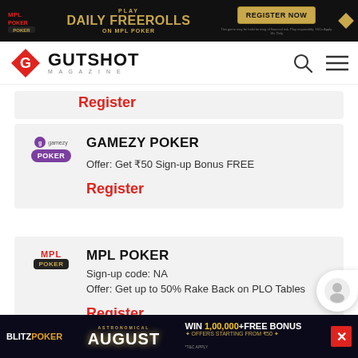[Figure (screenshot): MPL Poker top banner ad: Play Daily Freerolls on MPL Poker with Register Now button]
[Figure (logo): Gutshot Magazine logo with red diamond G icon and navigation icons]
Register
[Figure (logo): Gamezy Poker logo]
GAMEZY POKER
Offer: Get ₹50 Sign-up Bonus FREE
Register
[Figure (logo): MPL Poker logo]
MPL POKER
Sign-up code: NA
Offer: Get up to 50% Rake Back on PLO Tables
Register
[Figure (screenshot): Blitzpoker bottom banner ad: Astronomical August - Win 1,00,000 + Free Bonus, Offers starting from ₹50]